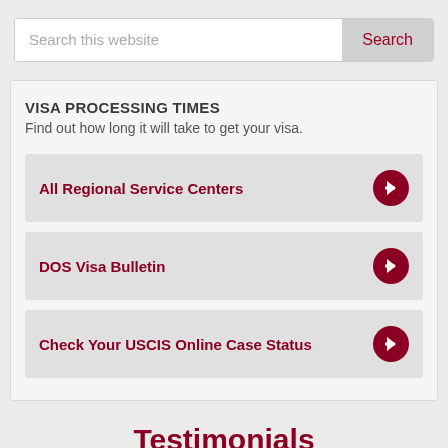Search this website
VISA PROCESSING TIMES
Find out how long it will take to get your visa.
All Regional Service Centers
DOS Visa Bulletin
Check Your USCIS Online Case Status
Testimonials